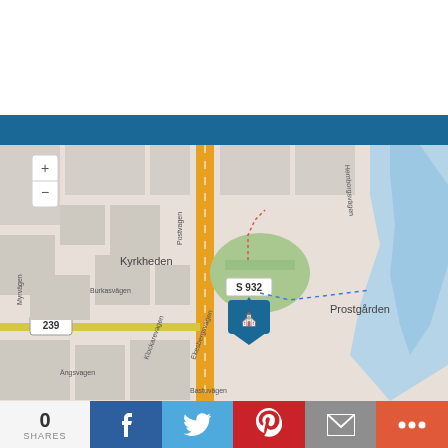[Figure (map): OpenStreetMap view of Kyrkheden area in Sweden showing streets including Postvagen, Burkasvägen, Klockarevagen, Ekesbergsvägen, Bastuvägen, Angsvagen, Myrvägen, Hemborgsvägen, road 239, S 932, and Prostgarden. A church map pin is shown at center near road S 932.]
0
SHARES